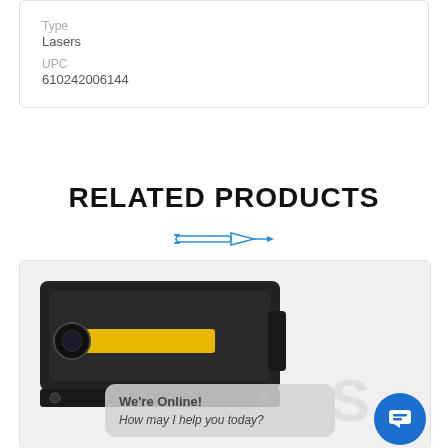Type
Lasers
UPC
610242006144
RELATED PRODUCTS
[Figure (illustration): Blue laser/bullet icon separator graphic]
[Figure (photo): Tactical laser device (black) shown in product card with chat overlay: 'We're Online! How may I help you today?']